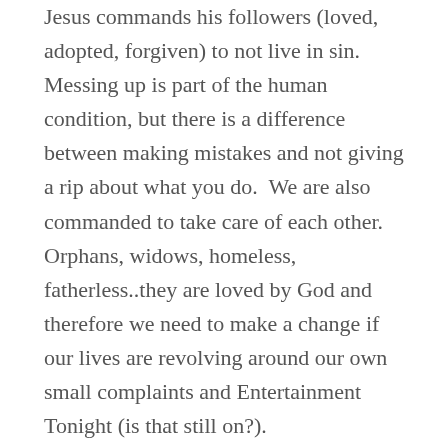Jesus commands his followers (loved, adopted, forgiven) to not live in sin. Messing up is part of the human condition, but there is a difference between making mistakes and not giving a rip about what you do.  We are also commanded to take care of each other.  Orphans, widows, homeless, fatherless..they are loved by God and therefore we need to make a change if our lives are revolving around our own small complaints and Entertainment Tonight (is that still on?).
So, there we are loving God, not worrying about the future, standing up for those who can't stand up for themselves, and what do we find? We are rubbing shoulders with other people who could use a little hope. We get to earn the right to share our story, to listen to theirs, and to pray for them. We get to do relationship. God is ALL about relationship.